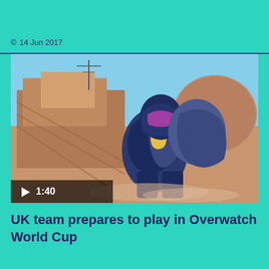© 14 Jun 2017
[Figure (screenshot): Video thumbnail showing an Overwatch game character in armor crouching in a desert setting with buildings in the background. A play button badge shows duration 1:40.]
UK team prepares to play in Overwatch World Cup